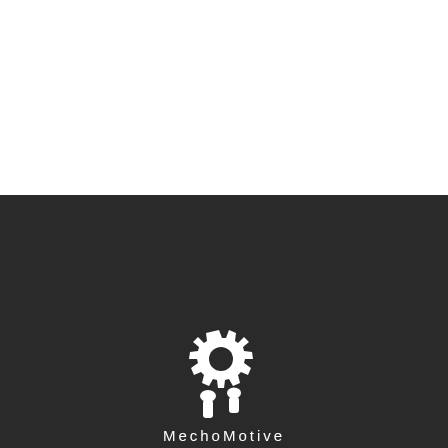[Figure (logo): MechoMotive logo: a white gear/cog icon with a stylized figure underneath, above the text 'MechoMotive' in white spaced letters, on a dark background. Upper half of page is white, lower half is dark charcoal with a thin horizontal divider line.]